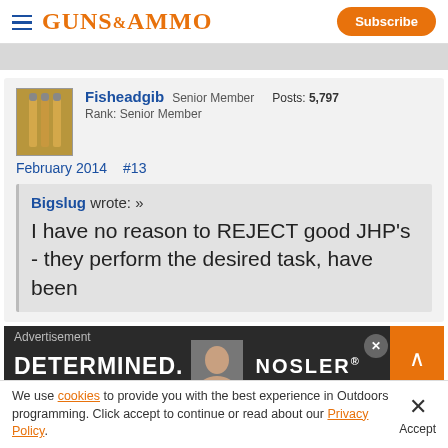GUNS&AMMO | Subscribe
[Figure (screenshot): Guns & Ammo forum post by user Fisheadgib, Senior Member, Posts: 5,797, Rank: Senior Member, February 2014, #13, with a quote block from Bigslug: 'I have no reason to REJECT good JHP's - they perform the desired task, have been [...]st pretty']
[Figure (advertisement): Nosler brand advertisement with text DETERMINED and a woman's face on dark background]
We use cookies to provide you with the best experience in Outdoors programming. Click accept to continue or read about our Privacy Policy.